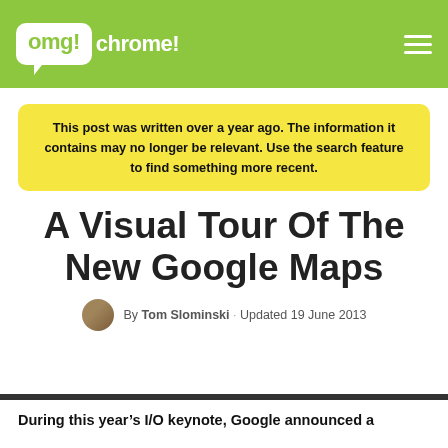omg!chrome!
This post was written over a year ago. The information it contains may no longer be relevant. Use the search feature to find something more recent.
A Visual Tour Of The New Google Maps
By Tom Slominski · Updated 19 June 2013
This site uses cookies. Learn more. OKAY
During this year's I/O keynote, Google announced a